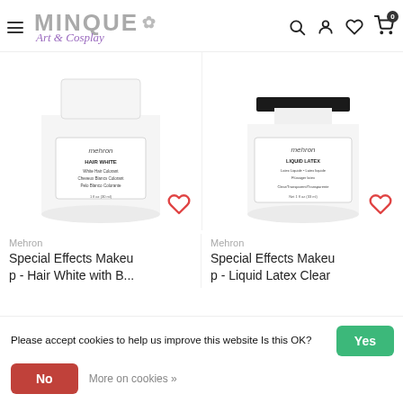MINQUE Art & Cosplay — navigation header with hamburger menu, search, account, wishlist, and cart icons
[Figure (photo): Mehron HAIR WHITE White Hair Colorant bottle (white jar with black lid)]
[Figure (photo): Mehron LIQUID LATEX Clear transparent bottle (white jar with black cap)]
Mehron
Special Effects Makeup - Hair White with B...
Mehron
Special Effects Makeup - Liquid Latex Clear
Please accept cookies to help us improve this website Is this OK?
Yes
No
More on cookies »